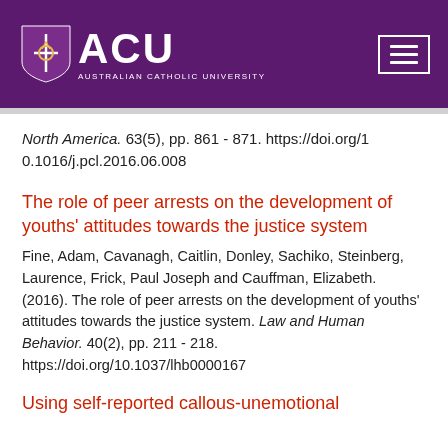[Figure (logo): Australian Catholic University (ACU) logo with shield and hamburger menu button on purple background]
North America. 63(5), pp. 861 - 871. https://doi.org/10.1016/j.pcl.2016.06.008
The role of peer arrests on the development of youths' attitudes towards the justice system
Fine, Adam, Cavanagh, Caitlin, Donley, Sachiko, Steinberg, Laurence, Frick, Paul Joseph and Cauffman, Elizabeth. (2016). The role of peer arrests on the development of youths' attitudes towards the justice system. Law and Human Behavior. 40(2), pp. 211 - 218. https://doi.org/10.1037/lhb0000167
Using self-reported callous-unemotional traits to cross-nationally measure the CU+